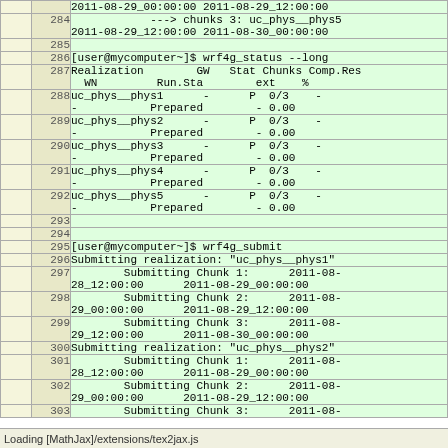|  | line | code |
| --- | --- | --- |
|  |  | 2011-08-29_00:00:00 2011-08-29_12:00:00 |
|  | 284 | --> chunks 3: uc_phys__phys5
2011-08-29_12:00:00 2011-08-30_00:00:00 |
|  | 285 |  |
|  | 286 | [user@mycomputer~]$ wrf4g_status --long |
|  | 287 | Realization        GW  Stat Chunks Comp.Res  WN         Run.Sta        ext    % |
|  | 288 | uc_phys__phys1      -      P  0/3    -
-           Prepared        - 0.00 |
|  | 289 | uc_phys__phys2      -      P  0/3    -
-           Prepared        - 0.00 |
|  | 290 | uc_phys__phys3      -      P  0/3    -
-           Prepared        - 0.00 |
|  | 291 | uc_phys__phys4      -      P  0/3    -
-           Prepared        - 0.00 |
|  | 292 | uc_phys__phys5      -      P  0/3    -
-           Prepared        - 0.00 |
|  | 293 |  |
|  | 294 |  |
|  | 295 | [user@mycomputer~]$ wrf4g_submit |
|  | 296 | Submitting realization: "uc_phys__phys1" |
|  | 297 |         Submitting Chunk 1:      2011-08-28_12:00:00      2011-08-29_00:00:00 |
|  | 298 |         Submitting Chunk 2:      2011-08-29_00:00:00      2011-08-29_12:00:00 |
|  | 299 |         Submitting Chunk 3:      2011-08-29_12:00:00      2011-08-30_00:00:00 |
|  | 300 | Submitting realization: "uc_phys__phys2" |
|  | 301 |         Submitting Chunk 1:      2011-08-28_12:00:00      2011-08-29_00:00:00 |
|  | 302 |         Submitting Chunk 2:      2011-08-29_00:00:00      2011-08-29_12:00:00 |
|  | 303 |         Submitting Chunk 3:      2011-08- |
Loading [MathJax]/extensions/tex2jax.js